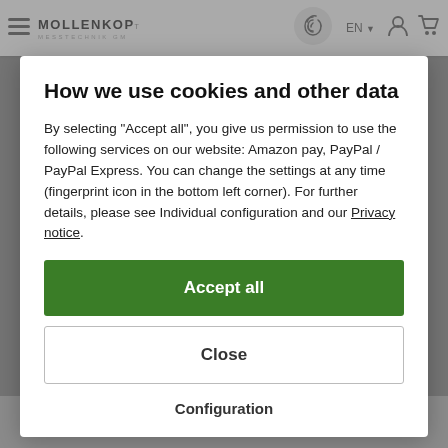MOLLENKOPF MESSTECHNIK GMBH — EN — [user icon] [cart icon]
[Figure (screenshot): Fingerprint / cookie consent icon in the navbar, circular grey badge with fingerprint symbol]
How we use cookies and other data
By selecting "Accept all", you give us permission to use the following services on our website: Amazon pay, PayPal / PayPal Express. You can change the settings at any time (fingerprint icon in the bottom left corner). For further details, please see Individual configuration and our Privacy notice.
Accept all
Close
Configuration